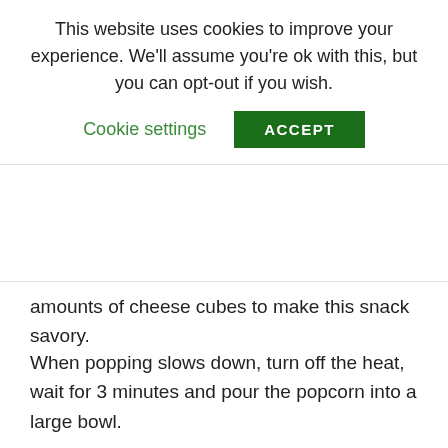This website uses cookies to improve your experience. We'll assume you're ok with this, but you can opt-out if you wish.
Cookie settings  ACCEPT
amounts of cheese cubes to make this snack savory.
When popping slows down, turn off the heat, wait for 3 minutes and pour the popcorn into a large bowl.
As much as possible, consuming a small serving size to achieve the health benefits this food can give.
4) Unpopped popcorn
Aside from popped popcorn, this snack can also be eaten plain.